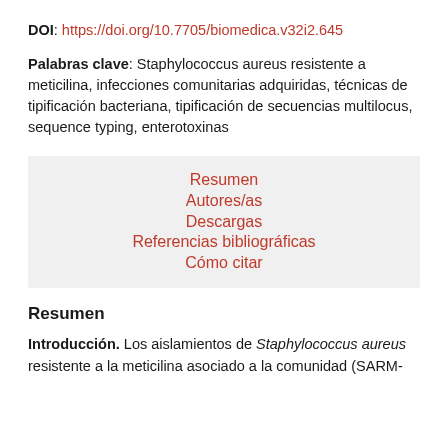DOI: https://doi.org/10.7705/biomedica.v32i2.645
Palabras clave: Staphylococcus aureus resistente a meticilina, infecciones comunitarias adquiridas, técnicas de tipificación bacteriana, tipificación de secuencias multilocus, sequence typing, enterotoxinas
Resumen
Autores/as
Descargas
Referencias bibliográficas
Cómo citar
Resumen
Introducción. Los aislamientos de Staphylococcus aureus resistente a la meticilina asociado a la comunidad (SARM-